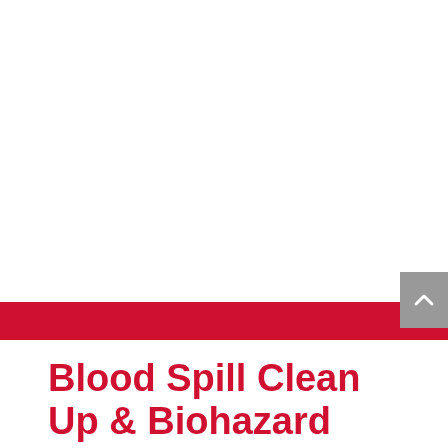Blood Spill Clean Up & Biohazard